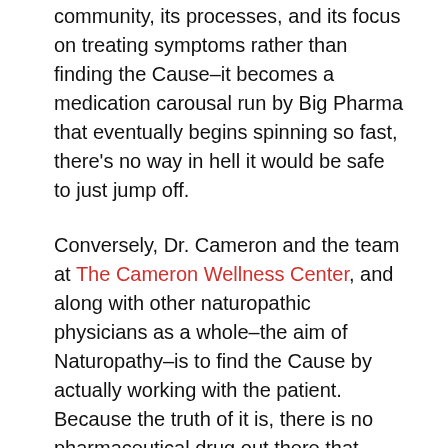community, its processes, and its focus on treating symptoms rather than finding the Cause–it becomes a medication carousal run by Big Pharma that eventually begins spinning so fast, there's no way in hell it would be safe to just jump off.
Conversely, Dr. Cameron and the team at The Cameron Wellness Center, and along with other naturopathic physicians as a whole–the aim of Naturopathy–is to find the Cause by actually working with the patient. Because the truth of it is, there is no pharmaceutical drug out there that cures any disease–they just treats the symptoms.
And that's a problem.
This is an eye-opening discussion on the nature of and the place modern medicine has in our modern world, and